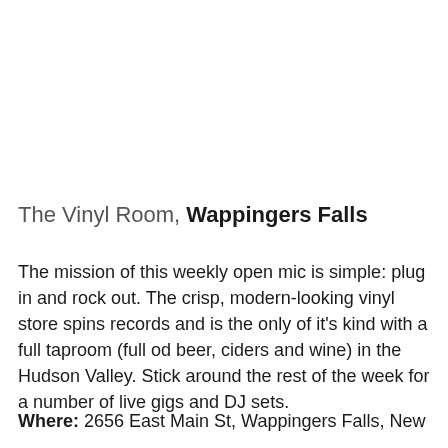The Vinyl Room, Wappingers Falls
The mission of this weekly open mic is simple: plug in and rock out. The crisp, modern-looking vinyl store spins records and is the only of it's kind with a full taproom (full od beer, ciders and wine) in the Hudson Valley. Stick around the rest of the week for a number of live gigs and DJ sets.
Where: 2656 East Main St, Wappingers Falls, New